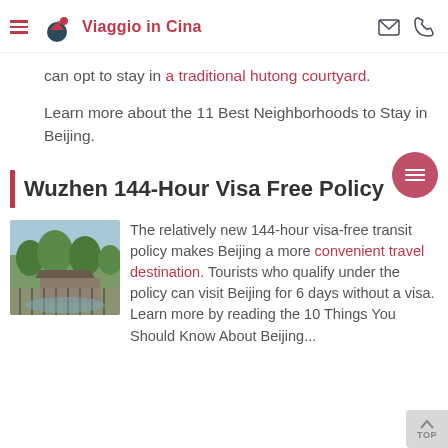Viaggio in Cina
can opt to stay in a traditional hutong courtyard.
Learn more about the 11 Best Neighborhoods to Stay in Beijing.
Wuzhen 144-Hour Visa Free Policy
[Figure (photo): Outdoor scene with trees and traditional architecture, related to Beijing travel]
The relatively new 144-hour visa-free transit policy makes Beijing a more convenient travel destination. Tourists who qualify under the policy can visit Beijing for 6 days without a visa. Learn more by reading the 10 Things You Should Know About Beijing...